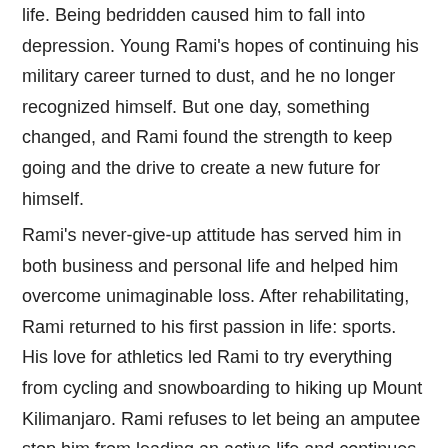life. Being bedridden caused him to fall into depression. Young Rami's hopes of continuing his military career turned to dust, and he no longer recognized himself. But one day, something changed, and Rami found the strength to keep going and the drive to create a new future for himself.
Rami's never-give-up attitude has served him in both business and personal life and helped him overcome unimaginable loss. After rehabilitating, Rami returned to his first passion in life: sports. His love for athletics led Rami to try everything from cycling and snowboarding to hiking up Mount Kilimanjaro. Rami refuses to let being an amputee stop him from leading an active life and continues learning new things and evolving.